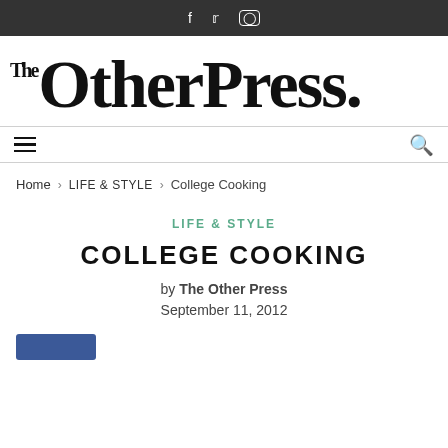f  ✓  □
[Figure (logo): The OtherPress. logo in large serif bold black text]
Home > LIFE & STYLE > College Cooking
LIFE & STYLE
COLLEGE COOKING
by The Other Press
September 11, 2012